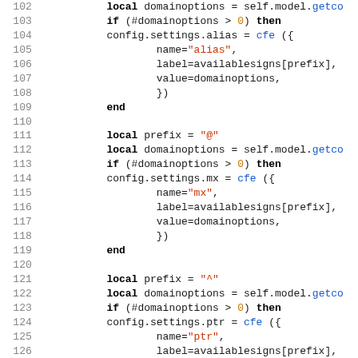[Figure (screenshot): Source code listing in Lua showing lines 102-131, with syntax highlighting: keywords in bold black, strings in red/orange, function names in blue, numbers in orange. Code involves domainoptions, config.settings assignments using cfe() calls with alias, mx, ptr fields.]